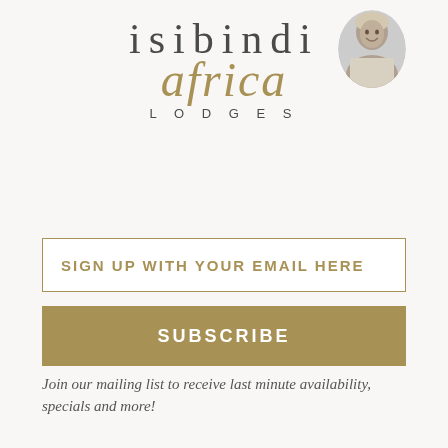[Figure (logo): Isibindi Africa Lodges logo with stylized text and a small child photo in black and white]
SIGN UP WITH YOUR EMAIL HERE
SUBSCRIBE
Join our mailing list to receive last minute availability, specials and more!